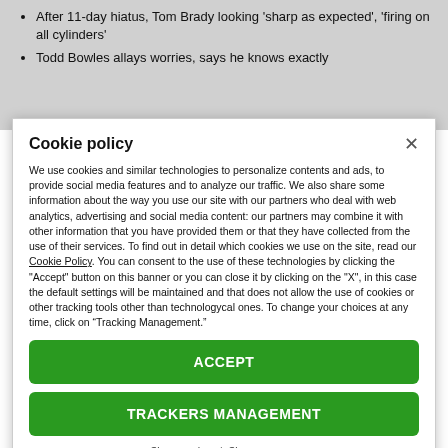After 11-day hiatus, Tom Brady looking 'sharp as expected', 'firing on all cylinders'
Todd Bowles allays worries, says he knows exactly
Cookie policy
We use cookies and similar technologies to personalize contents and ads, to provide social media features and to analyze our traffic. We also share some information about the way you use our site with our partners who deal with web analytics, advertising and social media content: our partners may combine it with other information that you have provided them or that they have collected from the use of their services. To find out in detail which cookies we use on the site, read our Cookie Policy. You can consent to the use of these technologies by clicking the "Accept" button on this banner or you can close it by clicking on the "X", in this case the default settings will be maintained and that does not allow the use of cookies or other tracking tools other than technologycal ones. To change your choices at any time, click on “Tracking Management.”
ACCEPT
TRACKERS MANAGEMENT
Show vendors | Show purposes